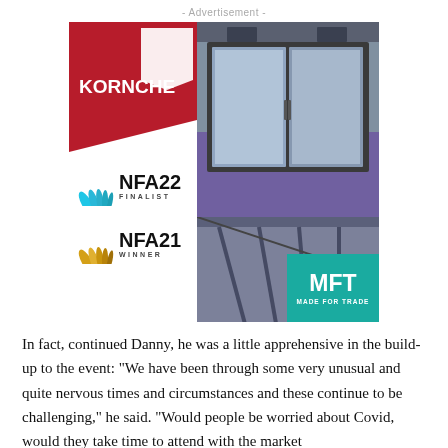- Advertisement -
[Figure (logo): Korniche brand logo with NFA22 Finalist and NFA21 Winner badges on the left, and product photos of bifold/lantern roof windows with MFT Made For Trade branding on the right.]
In fact, continued Danny, he was a little apprehensive in the build-up to the event: “We have been through some very unusual and quite nervous times and circumstances and these continue to be challenging,” he said. “Would people be worried about Covid, would they take time to attend with the market